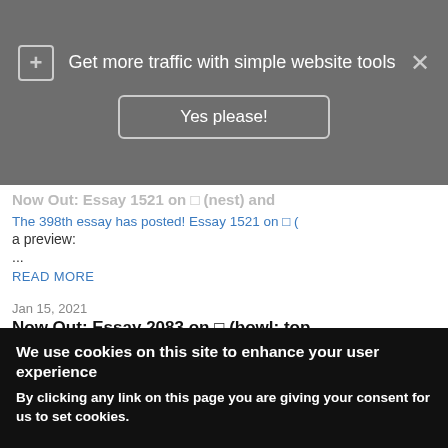Get more traffic with simple website tools
Yes please!
Now Out: Essay 1521 on □ (nest) and...
The 398th essay has posted! Essay 1521 on □ (
a preview:
...
READ MORE
Jan 15, 2021
Now Out: Essay 2083 on □ (bowl; top...
The 397th essay has posted! Essay 2083 on □ (
purchase. Here's a preview:
...
READ MORE
«  7
We use cookies on this site to enhance your user experience
By clicking any link on this page you are giving your consent for us to set cookies.